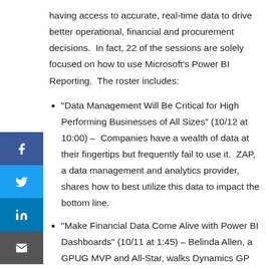having access to accurate, real-time data to drive better operational, financial and procurement decisions. In fact, 22 of the sessions are solely focused on how to use Microsoft's Power BI Reporting. The roster includes:
"Data Management Will Be Critical for High Performing Businesses of All Sizes" (10/12 at 10:00) – Companies have a wealth of data at their fingertips but frequently fail to use it. ZAP, a data management and analytics provider, shares how to best utilize this data to impact the bottom line.
"Make Financial Data Come Alive with Power BI Dashboards" (10/11 at 1:45) – Belinda Allen, a GPUG MVP and All-Star, walks Dynamics GP customers through using Power BI to analyze key business drivers.
"Leverage BI for Profit and Customer Service" (10/12 at 11:15) – Brandon George, Director of Business Intelligence and Analytics at Arbela, demonstrates how business intelligence can promote more efficient business operations